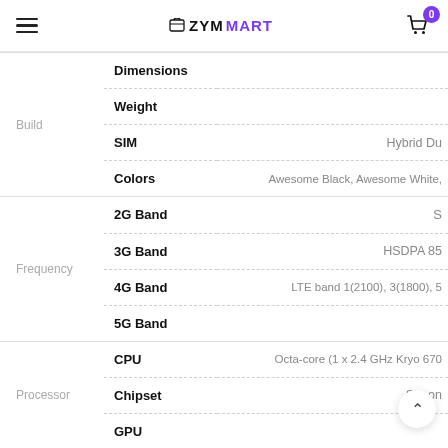ZYMMART - navigation header with hamburger menu and cart icon
| Category | Property | Value |
| --- | --- | --- |
| Build | Dimensions |  |
| Build | Weight |  |
| Build | SIM | Hybrid Du... |
| Build | Colors | Awesome Black, Awesome White,... |
| Frequency | 2G Band | S... |
| Frequency | 3G Band | HSDPA 85... |
| Frequency | 4G Band | LTE band 1(2100), 3(1800), 5... |
| Frequency | 5G Band |  |
| Processor | CPU | Octa-core (1 x 2.4 GHz Kryo 670... |
| Processor | Chipset | S...on... |
| Processor | GPU |  |